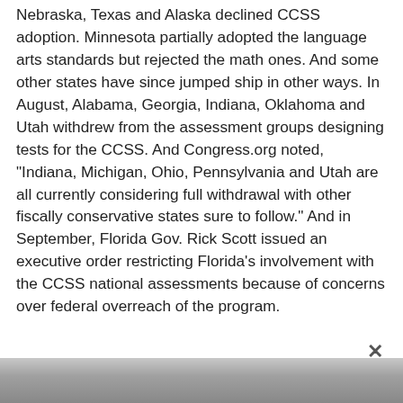Nebraska, Texas and Alaska declined CCSS adoption. Minnesota partially adopted the language arts standards but rejected the math ones. And some other states have since jumped ship in other ways. In August, Alabama, Georgia, Indiana, Oklahoma and Utah withdrew from the assessment groups designing tests for the CCSS. And Congress.org noted, "Indiana, Michigan, Ohio, Pennsylvania and Utah are all currently considering full withdrawal with other fiscally conservative states sure to follow." And in September, Florida Gov. Rick Scott issued an executive order restricting Florida's involvement with the CCSS national assessments because of concerns over federal overreach of the program.
[Figure (photo): Partial view of an image at the bottom of the page, mostly gray/muted tones]